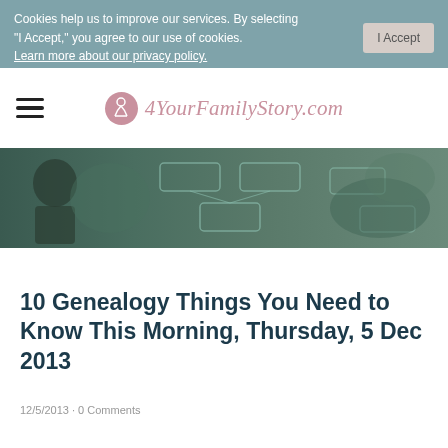Cookies help us to improve our services. By selecting "I Accept," you agree to our use of cookies. Learn more about our privacy policy.
4YourFamilyStory.com
[Figure (photo): Hero banner image showing a military soldier and a family tree diagram with faded green tones]
10 Genealogy Things You Need to Know This Morning, Thursday, 5 Dec 2013
12/5/2013 · 0 Comments